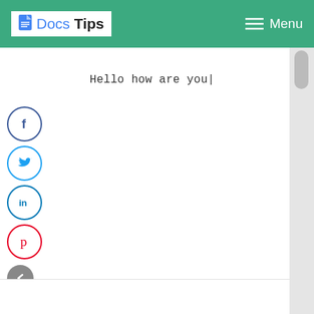Docs Tips | Menu
Hello how are you|
[Figure (illustration): Social media sharing icons: Facebook (blue circle with f), Twitter (blue circle with bird), LinkedIn (blue circle with 'in'), Pinterest (red circle with P), and a grey collapse/arrow button]